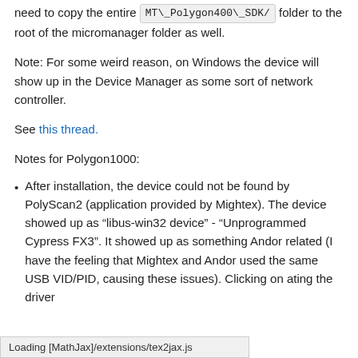need to copy the entire MT\_Polygon400\_SDK/ folder to the root of the micromanager folder as well.
Note: For some weird reason, on Windows the device will show up in the Device Manager as some sort of network controller.
See this thread.
Notes for Polygon1000:
After installation, the device could not be found by PolyScan2 (application provided by Mightex). The device showed up as “libus-win32 device” - “Unprogrammed Cypress FX3”. It showed up as something Andor related (I have the feeling that Mightex and Andor used the same USB VID/PID, causing these issues). Clicking on ating the driver
Loading [MathJax]/extensions/tex2jax.js